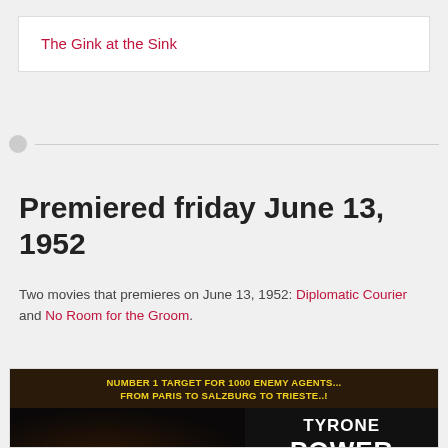The Gink at the Sink
Premiered friday June 13, 1952
Two movies that premieres on June 13, 1952: Diplomatic Courier and No Room for the Groom.
[Figure (photo): Movie poster for Diplomatic Courier featuring Tyrone Power. Text reads: NUMBER 1 TARGET FOR 1000 ENEMY AGENTS... FROM PARIS TO SALZBURG TO TRIESTE..! TYRONE POWER]